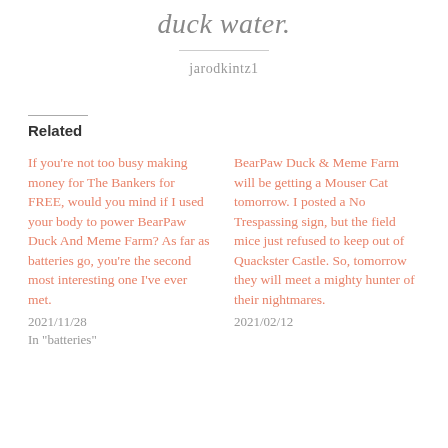duck water.
jarodkintz1
Related
If you're not too busy making money for The Bankers for FREE, would you mind if I used your body to power BearPaw Duck And Meme Farm? As far as batteries go, you're the second most interesting one I've ever met.
2021/11/28
In "batteries"
BearPaw Duck & Meme Farm will be getting a Mouser Cat tomorrow. I posted a No Trespassing sign, but the field mice just refused to keep out of Quackster Castle. So, tomorrow they will meet a mighty hunter of their nightmares.
2021/02/12